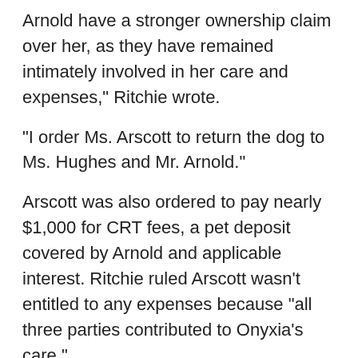Arnold have a stronger ownership claim over her, as they have remained intimately involved in her care and expenses," Ritchie wrote.
"I order Ms. Arscott to return the dog to Ms. Hughes and Mr. Arnold."
Arscott was also ordered to pay nearly $1,000 for CRT fees, a pet deposit covered by Arnold and applicable interest. Ritchie ruled Arscott wasn't entitled to any expenses because "all three parties contributed to Onyxia's care."
Arscott was ordered to return Onyxia to Arnold and Hughes within 30 days.
Report an error
Editorial standards and policies